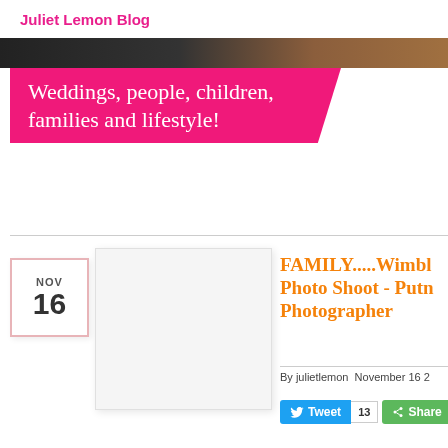Juliet Lemon Blog
[Figure (photo): Dark photo strip banner at top of blog page]
Weddings, people, children, families and lifestyle!
NOV 16
[Figure (photo): Blog post thumbnail image, white/light gray placeholder]
FAMILY.....Wimble Photo Shoot - Putn Photographer
By julietlemon November 16 2
Tweet 13 Share 130